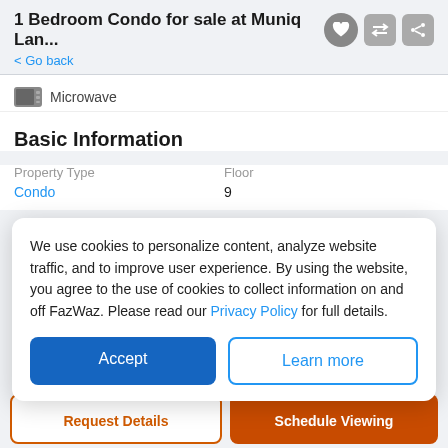1 Bedroom Condo for sale at Muniq Lan...
< Go back
Microwave
Basic Information
| Property Type | Floor |
| --- | --- |
| Condo | 9 |
We use cookies to personalize content, analyze website traffic, and to improve user experience. By using the website, you agree to the use of cookies to collect information on and off FazWaz. Please read our Privacy Policy for full details.
Accept
Learn more
Request Details
Schedule Viewing